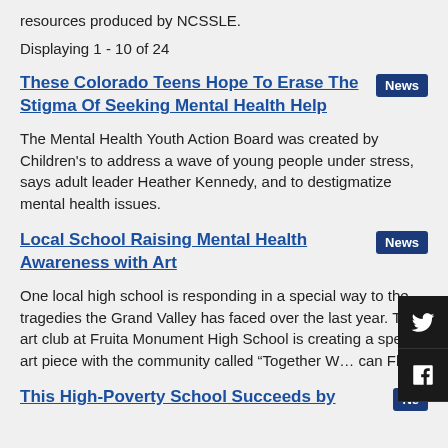resources produced by NCSSLE.
Displaying 1 - 10 of 24
These Colorado Teens Hope To Erase The Stigma Of Seeking Mental Health Help
The Mental Health Youth Action Board was created by Children's to address a wave of young people under stress, says adult leader Heather Kennedy, and to destigmatize mental health issues.
Local School Raising Mental Health Awareness with Art
One local high school is responding in a special way to the tragedies the Grand Valley has faced over the last year. The art club at Fruita Monument High School is creating a special art piece with the community called “Together We can Fly.”
This High-Poverty School Succeeds by